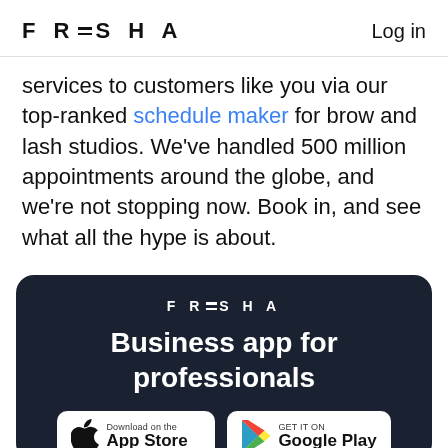FRESHA  Log in
services to customers like you via our top-ranked schedule maker for brow and lash studios. We've handled 500 million appointments around the globe, and we're not stopping now. Book in, and see what all the hype is about.
[Figure (infographic): Dark card with FRESHA logo, headline 'Business app for professionals', and App Store / Google Play download buttons]
Business app for professionals